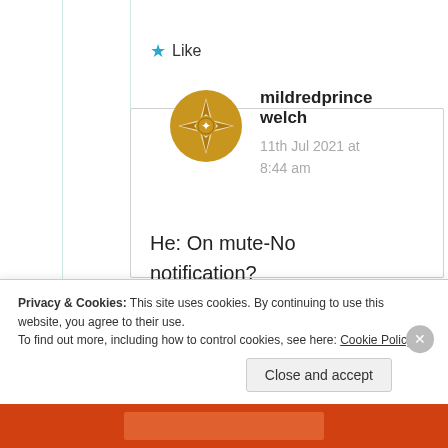★ Like
[Figure (illustration): Gold decorative avatar/icon — stylized star/compass rose shape in dark golden color]
mildredprince welch
11th Jul 2021 at 8:44 am
He: On mute-No notification?
Privacy & Cookies: This site uses cookies. By continuing to use this website, you agree to their use.
To find out more, including how to control cookies, see here: Cookie Policy
Close and accept